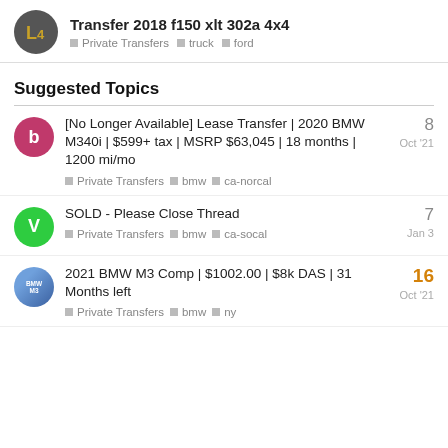Transfer 2018 f150 xlt 302a 4x4 | Private Transfers | truck | ford
Suggested Topics
[No Longer Available] Lease Transfer | 2020 BMW M340i | $599+ tax | MSRP $63,045 | 18 months | 1200 mi/mo | Private Transfers | bmw | ca-norcal | Oct '21 | 8 replies
SOLD - Please Close Thread | Private Transfers | bmw | ca-socal | Jan 3 | 7 replies
2021 BMW M3 Comp | $1002.00 | $8k DAS | 31 Months left | Private Transfers | bmw | ny | Oct '21 | 16 replies